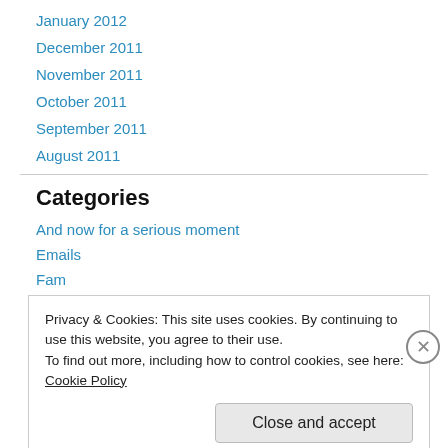January 2012
December 2011
November 2011
October 2011
September 2011
August 2011
Categories
And now for a serious moment
Emails
Fam
Privacy & Cookies: This site uses cookies. By continuing to use this website, you agree to their use.
To find out more, including how to control cookies, see here: Cookie Policy
Close and accept